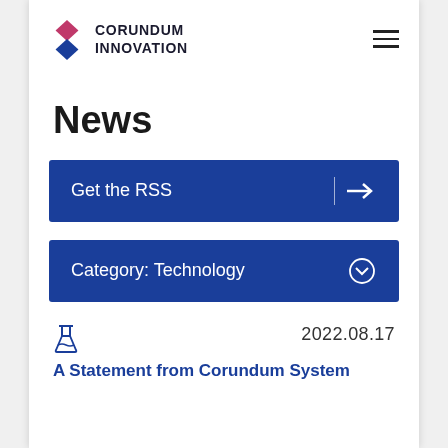CORUNDUM INNOVATION
News
Get the RSS →
Category: Technology ⌄
2022.08.17
A Statement from Corundum System